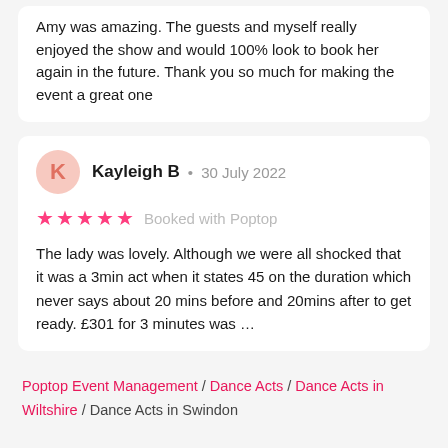Amy was amazing. The guests and myself really enjoyed the show and would 100% look to book her again in the future. Thank you so much for making the event a great one
Kayleigh B · 30 July 2022 ★★★★★ Booked with Poptop The lady was lovely. Although we were all shocked that it was a 3min act when it states 45 on the duration which never says about 20 mins before and 20mins after to get ready. £301 for 3 minutes was ...
Poptop Event Management / Dance Acts / Dance Acts in Wiltshire / Dance Acts in Swindon
Dance Acts in cities of Wiltshire